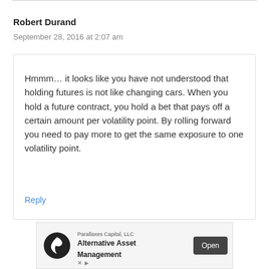Robert Durand
September 28, 2016 at 2:07 am
Hmmm… it looks like you have not understood that holding futures is not like changing cars. When you hold a future contract, you hold a bet that pays off a certain amount per volatility point. By rolling forward you need to pay more to get the same exposure to one volatility point.
Reply
[Figure (other): Advertisement banner for Parallaxes Capital, LLC — Alternative Asset Management, with an Open button]